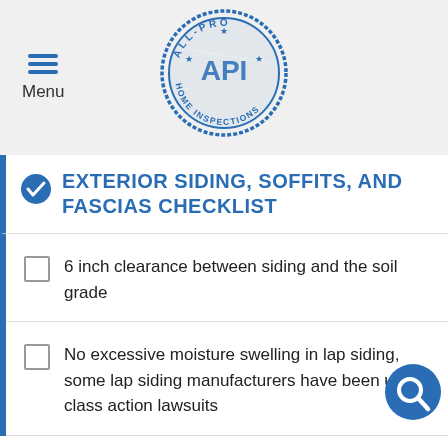[Figure (logo): ALL-PRO API HOME INSPECTIONS circular stamp logo in blue]
EXTERIOR SIDING, SOFFITS, AND FASCIAS CHECKLIST
6 inch clearance between siding and the soil grade
No excessive moisture swelling in lap siding, some lap siding manufacturers have been under class action lawsuits